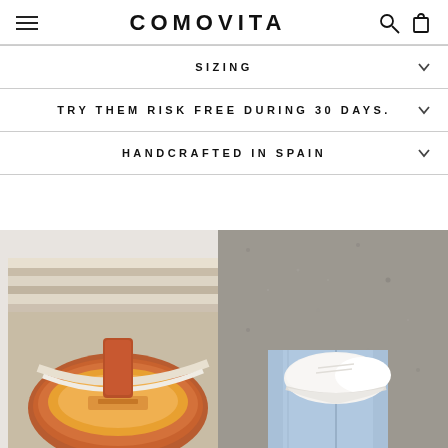COMOVITA
SIZING
TRY THEM RISK FREE DURING 30 DAYS.
HANDCRAFTED IN SPAIN
[Figure (photo): Close-up photo of brown/rust colored shoe sole and lining on left side, and white sneaker on right side photographed from above on a pavement surface with jeans visible]